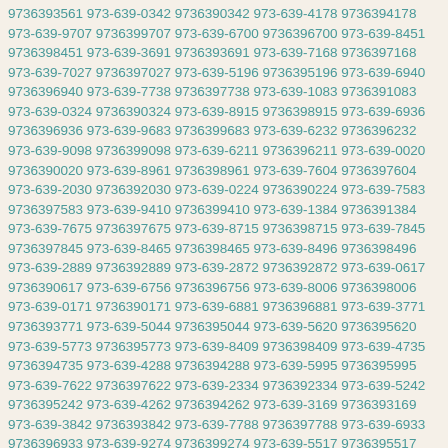9736393561 973-639-0342 9736390342 973-639-4178 9736394178 973-639-9707 9736399707 973-639-6700 9736396700 973-639-8451 9736398451 973-639-3691 9736393691 973-639-7168 9736397168 973-639-7027 9736397027 973-639-5196 9736395196 973-639-6940 9736396940 973-639-7738 9736397738 973-639-1083 9736391083 973-639-0324 9736390324 973-639-8915 9736398915 973-639-6936 9736396936 973-639-9683 9736399683 973-639-6232 9736396232 973-639-9098 9736399098 973-639-6211 9736396211 973-639-0020 9736390020 973-639-8961 9736398961 973-639-7604 9736397604 973-639-2030 9736392030 973-639-0224 9736390224 973-639-7583 9736397583 973-639-9410 9736399410 973-639-1384 9736391384 973-639-7675 9736397675 973-639-8715 9736398715 973-639-7845 9736397845 973-639-8465 9736398465 973-639-8496 9736398496 973-639-2889 9736392889 973-639-2872 9736392872 973-639-0617 9736390617 973-639-6756 9736396756 973-639-8006 9736398006 973-639-0171 9736390171 973-639-6881 9736396881 973-639-3771 9736393771 973-639-5044 9736395044 973-639-5620 9736395620 973-639-5773 9736395773 973-639-8409 9736398409 973-639-4735 9736394735 973-639-4288 9736394288 973-639-5995 9736395995 973-639-7622 9736397622 973-639-2334 9736392334 973-639-5242 9736395242 973-639-4262 9736394262 973-639-3169 9736393169 973-639-3842 9736393842 973-639-7788 9736397788 973-639-6933 9736396933 973-639-9274 9736399274 973-639-5517 9736395517 973-639-7809 9736397809 973-639-8178 9736398178 973-639-4871 9736394871 973-639-9976 9736399976 973-639-7330 9736397330 973-639-7479 9736397479 973-639-6482 9736396482 973-639-1288 9736391288 973-639-9947 9736399947 973-639-9915 9736399915 973-